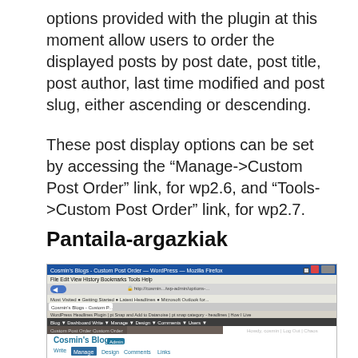options provided with the plugin at this moment allow users to order the displayed posts by post date, post title, post author, last time modified and post slug, either ascending or descending.
These post display options can be set by accessing the “Manage->Custom Post Order” link, for wp2.6, and “Tools->Custom Post Order” link, for wp2.7.
Pantaila-argazkiak
[Figure (screenshot): Screenshot of a WordPress admin interface showing 'Cosmin's Blogs' website with the CustomPostOrder Plugin Options page open under the Manage menu.]